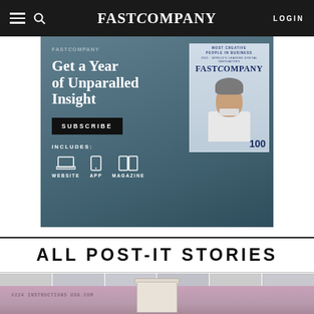FAST COMPANY — LOGIN
[Figure (infographic): Fast Company subscription advertisement banner. Dark blue-grey background. Left side: 'Get a Year of Unparalled Insight' headline, SUBSCRIBE button, INCLUDES: WEBSITE APP MAGAZINE with icons. Right side: Fast Company magazine cover showing a woman with short grey hair looking upward, with '100' visible on cover.]
ALL POST-IT STORIES
[Figure (photo): Partial photo showing a paint bucket and painted wall tiles in muted pink/purple tones, with text visible reading something like 'instructions usg.com']